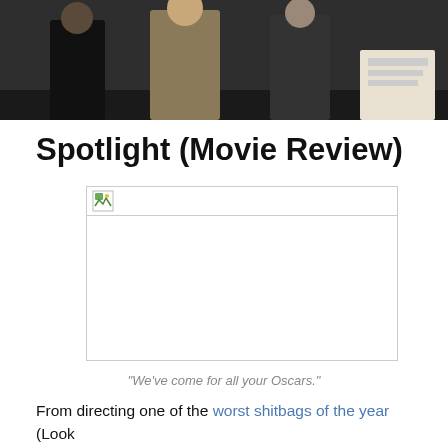[Figure (photo): Dark photo showing people standing, appears to be a movie still from Spotlight]
Spotlight (Movie Review)
[Figure (photo): Broken image placeholder for a second photo]
“We’ve come for all your Oscars.”
From directing one of the worst shitbags of the year (Look